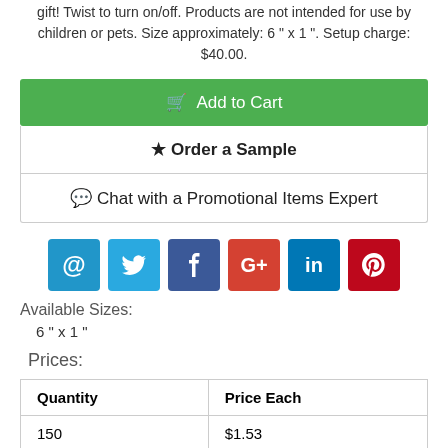gift! Twist to turn on/off. Products are not intended for use by children or pets. Size approximately: 6 " x 1 ". Setup charge: $40.00.
Add to Cart
★ Order a Sample
Chat with a Promotional Items Expert
[Figure (infographic): Social sharing icons: email, Twitter, Facebook, Google+, LinkedIn, Pinterest]
Available Sizes:
6 " x 1 "
Prices:
| Quantity | Price Each |
| --- | --- |
| 150 | $1.53 |